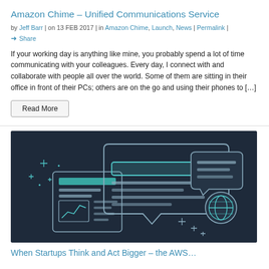Amazon Chime – Unified Communications Service
by Jeff Barr | on 13 FEB 2017 | in Amazon Chime, Launch, News | Permalink | Share
If your working day is anything like mine, you probably spend a lot of time communicating with your colleagues. Every day, I connect with and collaborate with people all over the world. Some of them are sitting in their office in front of their PCs; others are on the go and using their phones to […]
[Figure (illustration): Dark navy blue illustration showing unified communications concept: a document with chart on the left, a large speech/chat bubble in the center with a text input field and lines, and a smaller speech bubble on the right with a globe/world icon. Decorative plus signs and sparkles scattered around.]
When Startups Think and Act Bigger – the AWS…